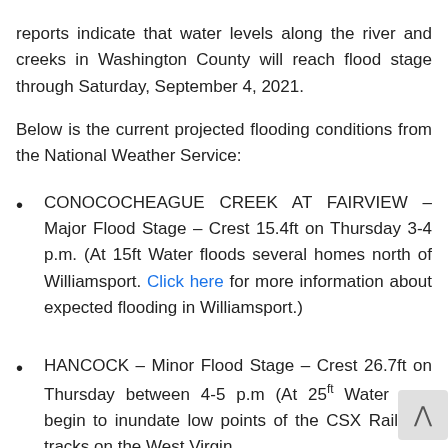reports indicate that water levels along the river and creeks in Washington County will reach flood stage through Saturday, September 4, 2021.
Below is the current projected flooding conditions from the National Weather Service:
CONOCOCHEAGUE CREEK AT FAIRVIEW – Major Flood Stage – Crest 15.4ft on Thursday 3-4 p.m. (At 15ft Water floods several homes north of Williamsport. Click here for more information about expected flooding in Williamsport.)
HANCOCK – Minor Flood Stage – Crest 26.7ft on Thursday between 4-5 p.m (At 25ft Water may begin to inundate low points of the CSX Railroad tracks on the West Virginia side of the river. last text cut off)